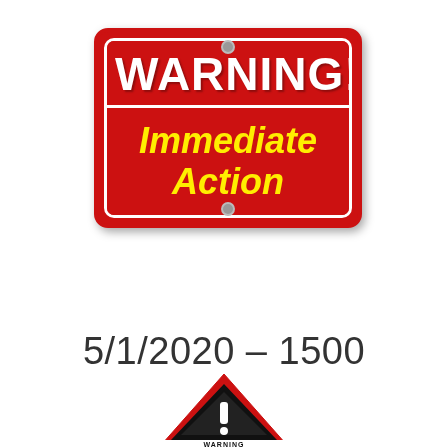[Figure (illustration): Red rectangular warning sign with white border reading 'WARNING!' in white bold text on top section and 'Immediate Action' in yellow bold italic text on lower red section, with metal bolts at top and bottom]
5/1/2020 – 1500
[Figure (illustration): Red triangular warning sign with black border containing a black exclamation mark on dark background, with 'WARNING' text below in black on white]